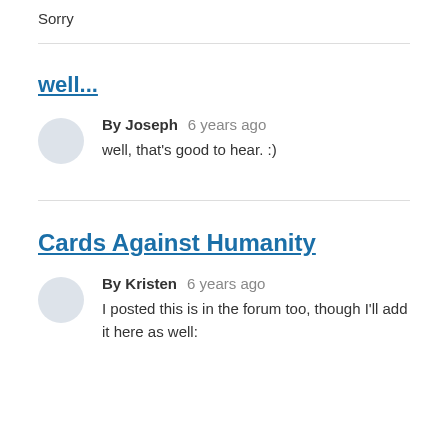Sorry
well...
By Joseph   6 years ago
well, that's good to hear. :)
Cards Against Humanity
By Kristen   6 years ago
I posted this is in the forum too, though I'll add it here as well: